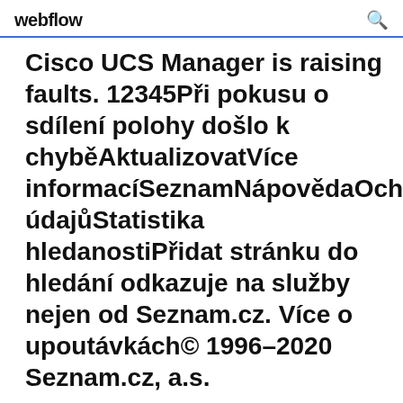webflow
Cisco UCS Manager is raising faults. 12345Při pokusu o sdílení polohy došlo k chyběAktualizovatVíce informacíSeznamNápovědaOchrana údajůStatistika hledanostiPřidat stránku do hledání odkazuje na služby nejen od Seznam.cz. Více o upoutávkách© 1996–2020 Seznam.cz, a.s.
Deploying Cisco Unified Computing System 3.1 and IBM FlashSystem V9000 with VMware vSphere 6.0 Update 1a Deployment Guide for